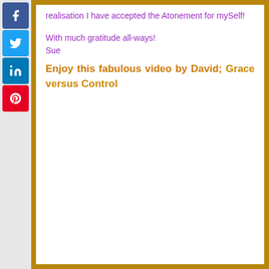[Figure (other): Social media sharing sidebar with Facebook, Twitter, LinkedIn, and Pinterest buttons]
realisation I have accepted the Atonement for mySelf!
With much gratitude all-ways!
Sue
Enjoy this fabulous video by David; Grace versus Control